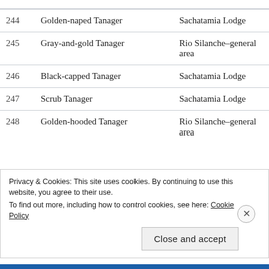| # | Bird Name | Location |
| --- | --- | --- |
| 244 | Golden-naped Tanager | Sachatamia Lodge |
| 245 | Gray-and-gold Tanager | Rio Silanche–general area |
| 246 | Black-capped Tanager | Sachatamia Lodge |
| 247 | Scrub Tanager | Sachatamia Lodge |
| 248 | Golden-hooded Tanager | Rio Silanche–general area |
Privacy & Cookies: This site uses cookies. By continuing to use this website, you agree to their use. To find out more, including how to control cookies, see here: Cookie Policy